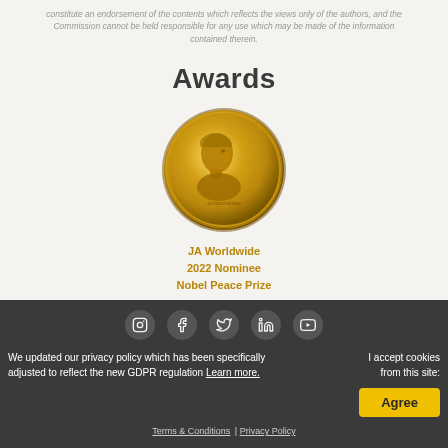constitute an endorsement of the contents which reflects the views only of the authors, and the Commission cannot be held responsible for any use which may be made of the information contained therein.
Awards
[Figure (photo): Nobel Peace Prize gold medal showing a portrait in profile relief]
JA Worldwide
2022 Nominee
Nobel Peace Prize
[Figure (infographic): Social media icons row: Instagram, Facebook, Twitter, LinkedIn, YouTube in circular icons on dark background]
We updated our privacy policy which has been specifically adjusted to reflect the new GDPR regulation Learn more.
I accept cookies from this site:
Terms & Conditions | Privacy Policy